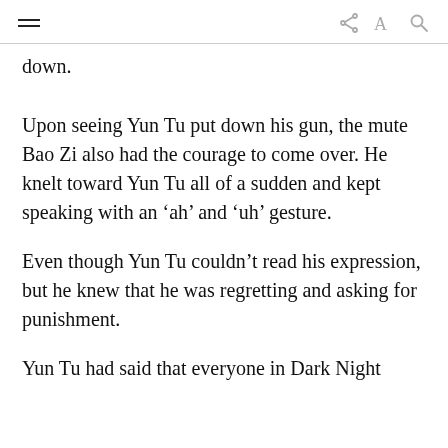≡  share A Q
down.
Upon seeing Yun Tu put down his gun, the mute Bao Zi also had the courage to come over. He knelt toward Yun Tu all of a sudden and kept speaking with an ‘ah’ and ‘uh’ gesture.
Even though Yun Tu couldn’t read his expression, but he knew that he was regretting and asking for punishment.
Yun Tu had said that everyone in Dark Night